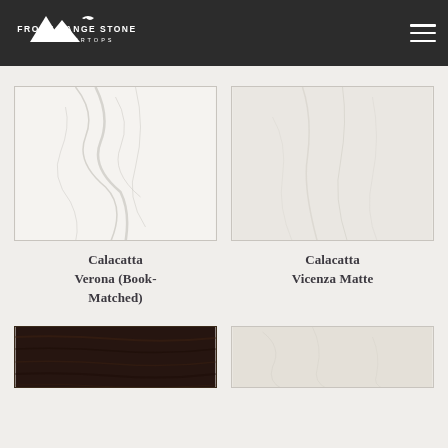[Figure (logo): Front Range Stone Countertops logo — white mountain peaks silhouette with bird, text FRONT RANGE STONE COUNTERTOPS below]
[Figure (photo): Calacatta Verona book-matched marble slab — white with grey veining]
Calacatta Verona (Book-Matched)
[Figure (photo): Calacatta Vicenza Matte marble slab — white with subtle light grey veining]
Calacatta Vicenza Matte
[Figure (photo): Dark brown wood-grain texture slab]
[Figure (photo): Cream/off-white stone texture slab]